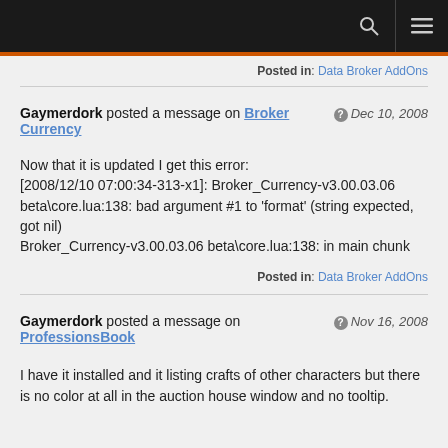Posted in: Data Broker AddOns
Gaymerdork posted a message on Broker Currency
 Dec 10, 2008
Now that it is updated I get this error:
[2008/12/10 07:00:34-313-x1]: Broker_Currency-v3.00.03.06 beta\core.lua:138: bad argument #1 to 'format' (string expected, got nil)
Broker_Currency-v3.00.03.06 beta\core.lua:138: in main chunk
Posted in: Data Broker AddOns
Gaymerdork posted a message on ProfessionsBook
 Nov 16, 2008
I have it installed and it listing crafts of other characters but there is no color at all in the auction house window and no tooltip.